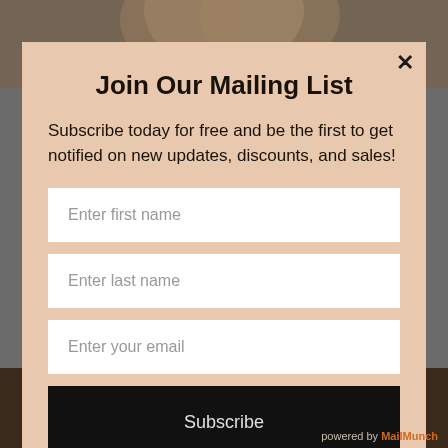[Figure (photo): Background photo of a person with wavy blonde/brown hair, partially visible behind a modal popup. Dark/grey background surrounds the modal.]
Join Our Mailing List
Subscribe today for free and be the first to get notified on new updates, discounts, and sales!
Enter first name
Enter last name
Enter your email
Subscribe
powered by MailMunch